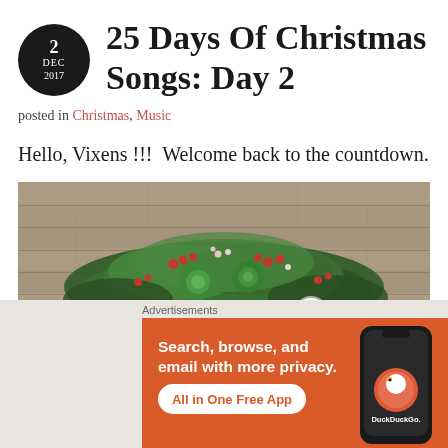25 Days Of Christmas Songs: Day 2
posted in Christmas, Music
Hello, Vixens !!! Welcome back to the countdown.
[Figure (photo): Christmas greenery arrangement with holly berries and pine branches on a wooden plank background]
Advertisements
[Figure (infographic): DuckDuckGo advertisement: Search, browse, and email with more privacy. All in One Free App. Orange background with phone mockup showing DuckDuckGo logo.]